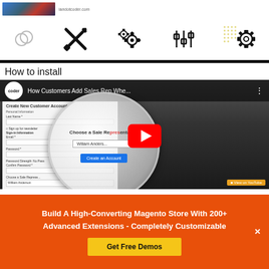[Figure (screenshot): Top bar showing small thumbnail image of person and iandotcoder.com domain text]
[Figure (illustration): Row of tool/settings icons: overlapping circles, wrench+screwdriver cross, two gear cogs, vertical sliders/equalizer, dotted pattern background, gear outline. Black horizontal bar below.]
How to install
[Figure (screenshot): YouTube video thumbnail showing 'How Customers Add Sales Rep Whe...' with coder logo, a screenshot of Create New Customer Account form with magnifying glass showing 'Choose a Sales Representative' dropdown with 'William Anderson' selected and 'Create an Account' button. Red play button overlay in center.]
Build A High-Converting Magento Store With 200+ Advanced Extensions - Completely Customizable
Get Free Demos